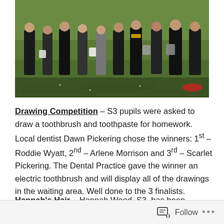[Figure (photo): Group of students/people standing on a grass field holding buckets]
Drawing Competition – S3 pupils were asked to draw a toothbrush and toothpaste for homework. Local dentist Dawn Pickering chose the winners: 1st – Roddie Wyatt, 2nd – Arlene Morrison and 3rd – Scarlet Pickering. The Dental Practice gave the winner an electric toothbrush and will display all of the drawings in the waiting area. Well done to the 3 finalists.
Hannah's Hair – Hannah Wood, S3, has been growing